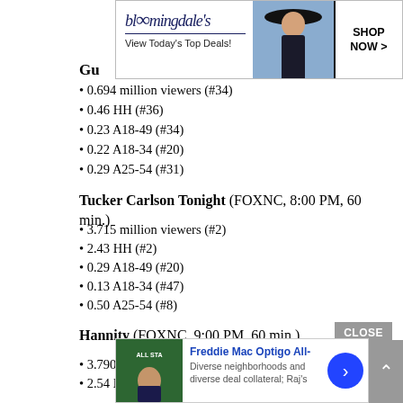[Figure (infographic): Bloomingdales advertisement banner: 'View Today's Top Deals!' with photo of woman in hat and SHOP NOW > button]
Gu...
0.694 million viewers (#34)
0.46 HH (#36)
0.23 A18-49 (#34)
0.22 A18-34 (#20)
0.29 A25-54 (#31)
Tucker Carlson Tonight (FOXNC, 8:00 PM, 60 min.)
3.715 million viewers (#2)
2.43 HH (#2)
0.29 A18-49 (#20)
0.13 A18-34 (#47)
0.50 A25-54 (#8)
Hannity (FOXNC, 9:00 PM, 60 min.)
3.790 million viewers (#1)
2.54 HH (#1)
0.28 A18-49 (#21)
0.12 A18-34 (#50)
0.49 A25-54 (#9)
Th...
3....
2....
[Figure (infographic): CLOSE button overlay and Freddie Mac Optigo All- advertisement with person in suit, text: Diverse neighborhoods and diverse deal collateral; Raj's, and blue arrow button]
[Figure (infographic): Scroll up arrow button on right side]